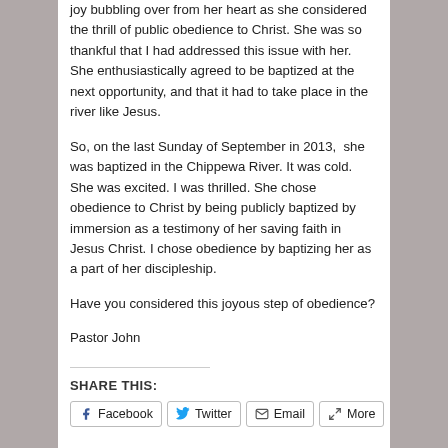joy bubbling over from her heart as she considered the thrill of public obedience to Christ. She was so thankful that I had addressed this issue with her. She enthusiastically agreed to be baptized at the next opportunity, and that it had to take place in the river like Jesus.
So, on the last Sunday of September in 2013,  she was baptized in the Chippewa River. It was cold. She was excited. I was thrilled. She chose obedience to Christ by being publicly baptized by immersion as a testimony of her saving faith in Jesus Christ. I chose obedience by baptizing her as a part of her discipleship.
Have you considered this joyous step of obedience?
Pastor John
SHARE THIS:
Facebook  Twitter  Email  More